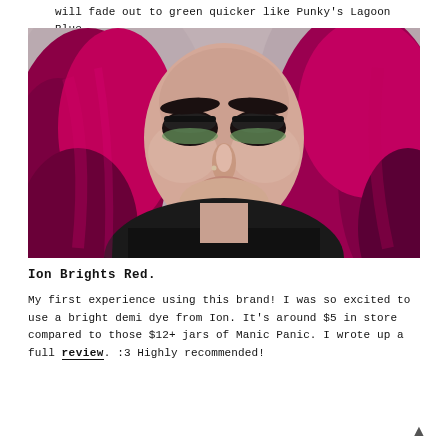will fade out to green quicker like Punky's Lagoon Blue.
[Figure (photo): Close-up portrait of a woman with vivid red/magenta hair, dramatic dark eye makeup with green eyeshadow, wearing a black top. Background is neutral gray.]
Ion Brights Red.
My first experience using this brand! I was so excited to use a bright demi dye from Ion. It's around $5 in store compared to those $12+ jars of Manic Panic. I wrote up a full review. :3 Highly recommended!